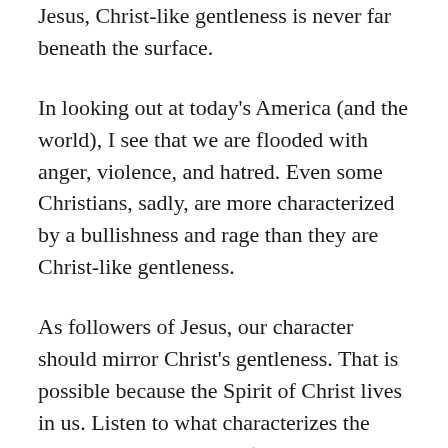Jesus, Christ-like gentleness is never far beneath the surface.
In looking out at today's America (and the world), I see that we are flooded with anger, violence, and hatred. Even some Christians, sadly, are more characterized by a bullishness and rage than they are Christ-like gentleness.
As followers of Jesus, our character should mirror Christ's gentleness. That is possible because the Spirit of Christ lives in us. Listen to what characterizes the Spirit work in our lives (hint: it does not include aggression and hatred!) "The fruit of the Spirit is love, joy, peace, patience, kindness, generosity, faithfulness, gentleness and self-control....If we live by the Spirit, let us also be guided by the Spirit." (Galatians 5:22–25)